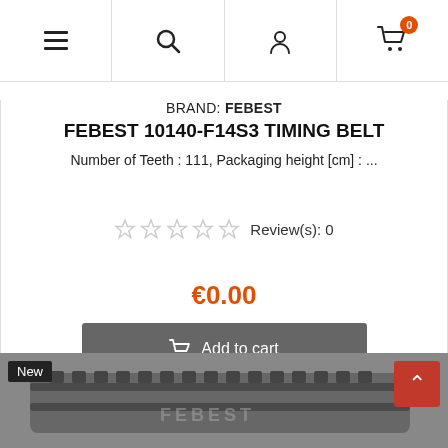Navigation bar with menu, search, user, and cart (0 items) icons
BRAND: FEBEST
FEBEST 10140-F14S3 TIMING BELT
Number of Teeth : 111, Packaging height [cm] : ...
Review(s): 0
€0.00
Add to cart
Out-of-Stock
[Figure (photo): Timing belt product photo at bottom of page with New badge and up-arrow scroll button]